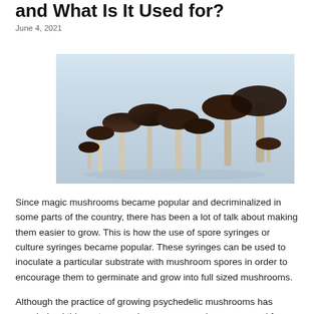and What Is It Used for?
June 4, 2021
[Figure (photo): Close-up photograph of several dark-capped psychedelic mushrooms with white stems arranged on a light grey surface.]
Since magic mushrooms became popular and decriminalized in some parts of the country, there has been a lot of talk about making them easier to grow. This is how the use of spore syringes or culture syringes became popular. These syringes can be used to inoculate a particular substrate with mushroom spores in order to encourage them to germinate and grow into full sized mushrooms.
Although the practice of growing psychedelic mushrooms has popularized this system, mushroom spore syringes are used for